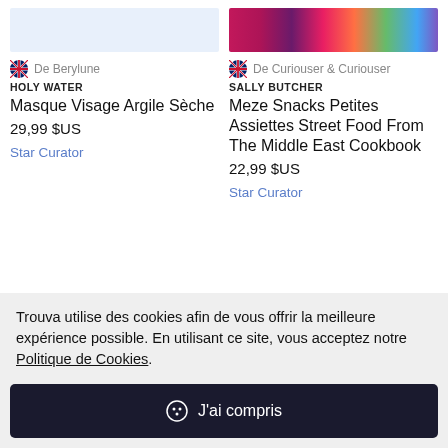[Figure (photo): Light blue placeholder product image for Masque Visage Argile Sèche]
[Figure (photo): Colorful floral book cover for Meze Snacks cookbook by Sally Butcher]
De Berylune
De Curiouser & Curiouser
HOLY WATER
SALLY BUTCHER
Masque Visage Argile Sèche
Meze Snacks Petites Assiettes Street Food From The Middle East Cookbook
29,99 $US
22,99 $US
Star Curator
Star Curator
[Figure (photo): Small product thumbnail image on lower left]
Trouva utilise des cookies afin de vous offrir la meilleure expérience possible. En utilisant ce site, vous acceptez notre Politique de Cookies.
J'ai compris